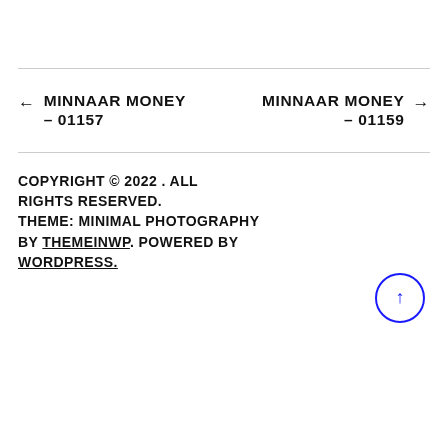← MINNAAR MONEY – 01157
MINNAAR MONEY – 01159 →
COPYRIGHT © 2022 . ALL RIGHTS RESERVED. THEME: MINIMAL PHOTOGRAPHY BY THEMEINWP. POWERED BY WORDPRESS.